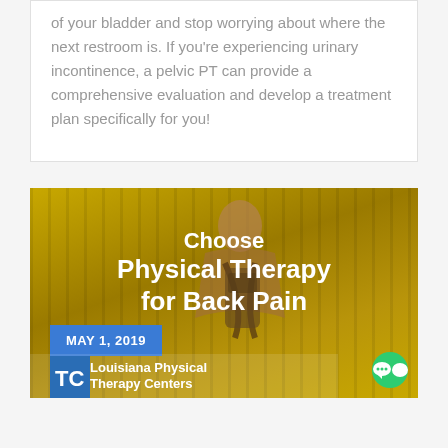of your bladder and stop worrying about where the next restroom is. If you're experiencing urinary incontinence, a pelvic PT can provide a comprehensive evaluation and develop a treatment plan specifically for you!
[Figure (photo): Photo of a person with a backpack on a yellow/golden background with vertical stripe patterns. Overlaid text reads 'Choose Physical Therapy for Back Pain'. A blue date badge shows 'MAY 1, 2019' and the Louisiana Physical Therapy Centers logo appears at the bottom.]
Choose Physical Therapy for Back Pain
MAY 1, 2019
Louisiana Physical Therapy Centers